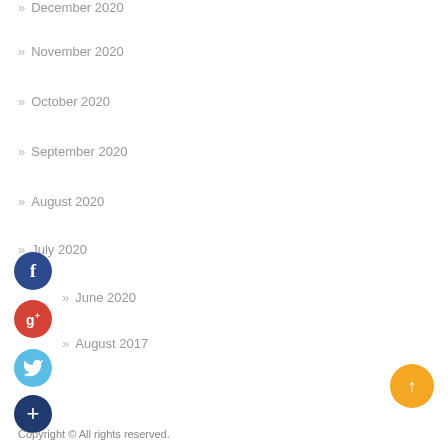December 2020
November 2020
October 2020
September 2020
August 2020
July 2020
June 2020
August 2017
Copyright © All rights reserved.